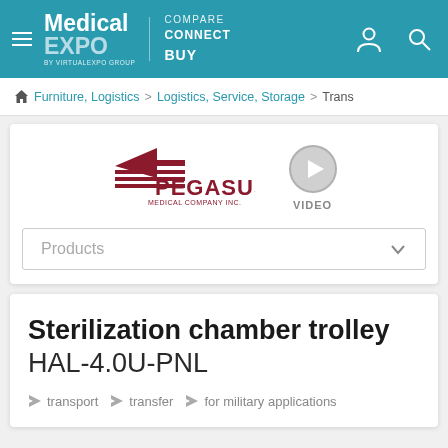Medical EXPO — COMPARE CONNECT BUY
Furniture, Logistics > Logistics, Service, Storage > Trans
[Figure (logo): Pegasus Medical Company Inc. logo in dark red]
[Figure (other): Video play button icon with label VIDEO]
Products
Sterilization chamber trolley HAL-4.0U-PNL
transport
transfer
for military applications